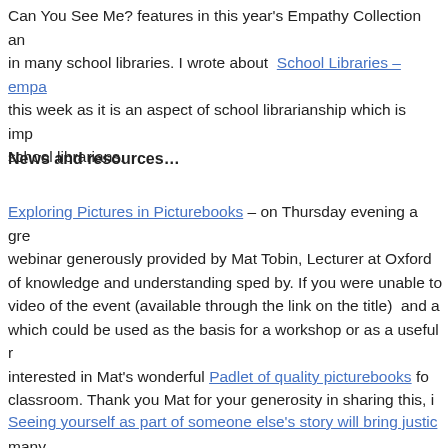Can You See Me? features in this year's Empathy Collection and in many school libraries. I wrote about School Libraries – empathy this week as it is an aspect of school librarianship which is important to school librarians.
News and resources…
Exploring Pictures in Picturebooks – on Thursday evening a great webinar generously provided by Mat Tobin, Lecturer at Oxford of knowledge and understanding sped by. If you were unable to video of the event (available through the link on the title) and a which could be used as the basis for a workshop or as a useful resource interested in Mat's wonderful Padlet of quality picturebooks for classroom. Thank you Mat for your generosity in sharing this, it many.
Seeing yourself as part of someone else's story will bring justice